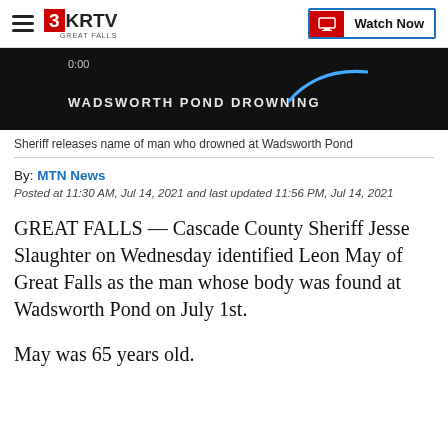3KRTV GREAT FALLS | Watch Now
[Figure (screenshot): Dark video thumbnail showing text 'WADSWORTH POND DROWNING' with time overlay 0:00]
Sheriff releases name of man who drowned at Wadsworth Pond
By: MTN News
Posted at 11:30 AM, Jul 14, 2021 and last updated 11:56 PM, Jul 14, 2021
GREAT FALLS — Cascade County Sheriff Jesse Slaughter on Wednesday identified Leon May of Great Falls as the man whose body was found at Wadsworth Pond on July 1st.
May was 65 years old.